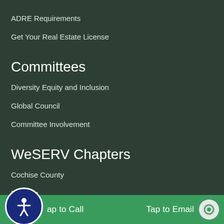ADRE Requirements
Get Your Real Estate License
Committees
Diversity Equity and Inclusion
Global Council
Committee Involvement
WeSERV Chapters
Cochise County
Douglas
Pinal County
Tap to Call   Tap to Email